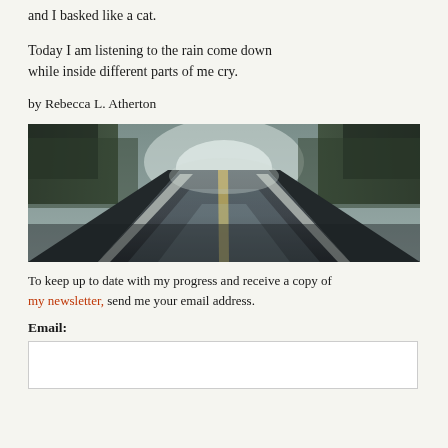and I basked like a cat.
Today I am listening to the rain come down while inside different parts of me cry.
by Rebecca L. Atherton
[Figure (photo): A wet rain-soaked road stretching into the distance, flanked by trees, with misty light at the vanishing point. The road surface reflects the sky.]
To keep up to date with my progress and receive a copy of my newsletter, send me your email address.
Email: